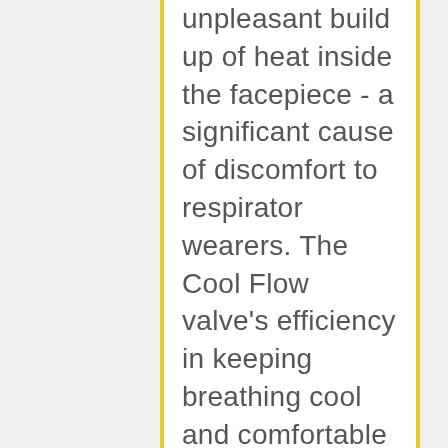unpleasant build up of heat inside the facepiece - a significant cause of discomfort to respirator wearers. The Cool Flow valve's efficiency in keeping breathing cool and comfortable has been demonstrated through testing*: the atmosphere inside a respirator with a Cool Flow valve is on average 7.5° F cooler than the similar product without the valve. This makes Cool Flow valve respirators ideal for long periods of wear, especially where conditions are hot, humid or physically...